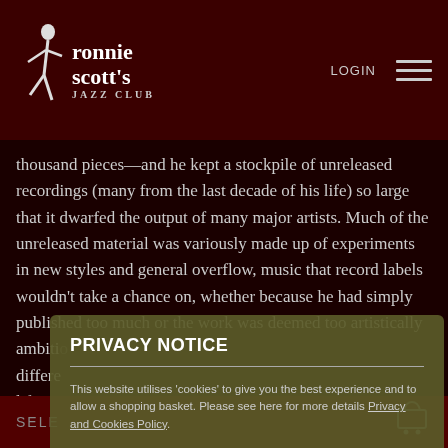Ronnie Scott's Jazz Club — LOGIN
thousand pieces—and he kept a stockpile of unreleased recordings (many from the last decade of his life) so large that it dwarfed the output of many major artists. Much of the unreleased material was variously made up of experiments in new styles and general overflow, music that record labels wouldn't take a chance on, whether because he had simply published too much or the work was deemed too artistically ambiti... differe... lifetime... one of... reques...
PRIVACY NOTICE

This website utilises 'cookies' to give you the best experience and to allow a shopping basket. Please see here for more details Privacy and Cookies Policy.

[Accept & Close]
SELE...